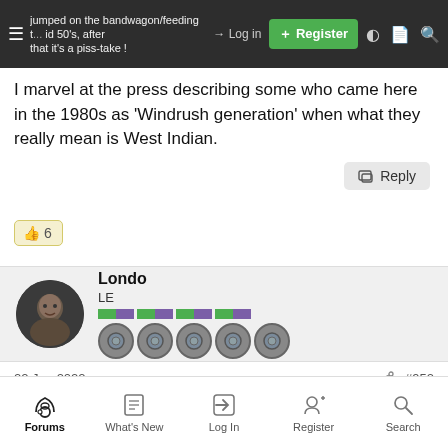jumped on the bandwagon/feeding ... id 50's, after that it's a piss-take !
I marvel at the press describing some who came here in the 1980s as 'Windrush generation' when what they really mean is West Indian.
👍 6
Londo
LE
22 Jun 2022  #952
Forums  What's New  Log In  Register  Search